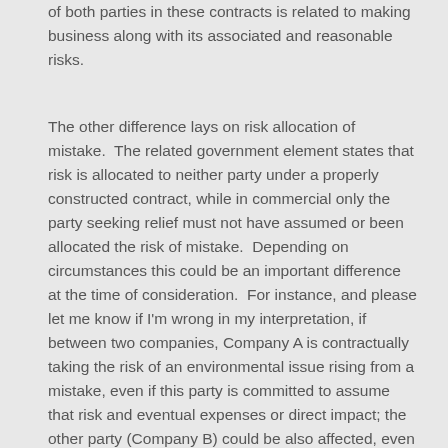of both parties in these contracts is related to making business along with its associated and reasonable risks.
The other difference lays on risk allocation of mistake. The related government element states that risk is allocated to neither party under a properly constructed contract, while in commercial only the party seeking relief must not have assumed or been allocated the risk of mistake. Depending on circumstances this could be an important difference at the time of consideration. For instance, and please let me know if I'm wrong in my interpretation, if between two companies, Company A is contractually taking the risk of an environmental issue rising from a mistake, even if this party is committed to assume that risk and eventual expenses or direct impact; the other party (Company B) could be also affected, even at a less obvious or eventually subjective way such an internal conflict due to the company policy about this subject. Therefore, I understand that in this case and under commercial examination, Company B can ask for contract relief but cannot do it under